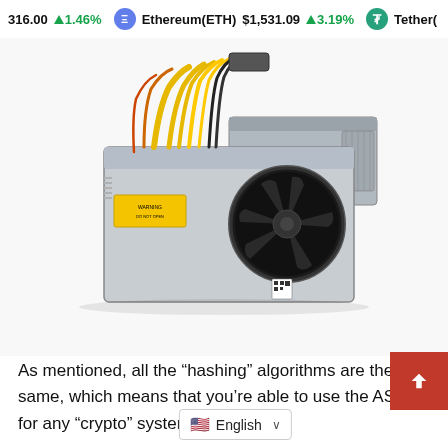316.00 ↑ 1.46%  Ethereum(ETH) $1,531.09 ↑ 3.19%  Tether(
[Figure (photo): Two ASIC cryptocurrency mining machines (Bitmain Antminer style) photographed on white background. The machines are silver/grey metal boxes with large cooling fans and bundles of yellow, orange, and black power cables on top.]
As mentioned, all the “hashing” algorithms are the same, which means that you’re able to use the ASIC’s for any “crypto” system you want.